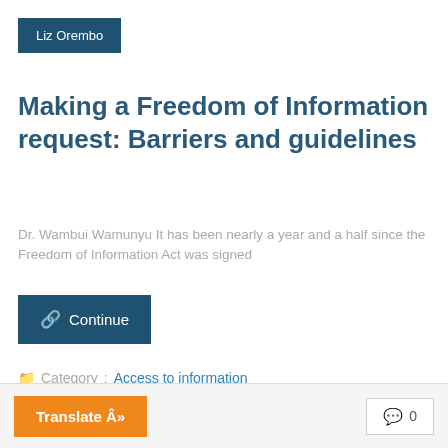Liz Orembo
Making a Freedom of Information request: Barriers and guidelines
Dr. Wambui Wamunyu It has been nearly a year and a half since the Freedom of Information Act was signed
Continue
Category : Access to information
Translate Â»
0